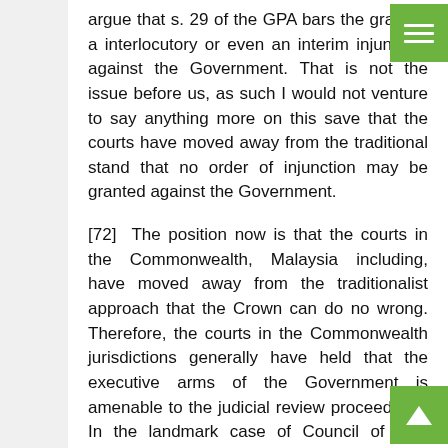argue that s. 29 of the GPA bars the grant of a interlocutory or even an interim injunction against the Government. That is not the issue before us, as such I would not venture to say anything more on this save that the courts have moved away from the traditional stand that no order of injunction may be granted against the Government.
[72] The position now is that the courts in the Commonwealth, Malaysia including, have moved away from the traditionalist approach that the Crown can do no wrong. Therefore, the courts in the Commonwealth jurisdictions generally have held that the executive arms of the Government is amenable to the judicial review proceedings. In the landmark case of Council of Civil Service Unions v. Minister for the Civil Service [1984] 3 All ER 935, HL at p. 953 Lord Roskill said: Historically the use of the old prerogative writs certiorari, prohibition and mandamus designed